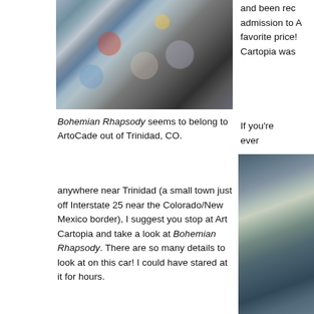[Figure (photo): Photo of an art car called Bohemian Rhapsody, covered in colorful mosaic objects and decorations, shown from the side.]
Bohemian Rhapsody seems to belong to ArtoCade out of Trinidad, CO.
and been rec admission to A favorite price! Cartopia was
If you're ever
anywhere near Trinidad (a small town just off Interstate 25 near the Colorado/New Mexico border), I suggest you stop at Art Cartopia and take a look at Bohemian Rhapsody. There are so many details to look at on this car! I could have stared at it for hours.
[Figure (photo): Close-up detail photo of the art car showing intricate mosaic decorations with colorful objects embedded on the surface.]